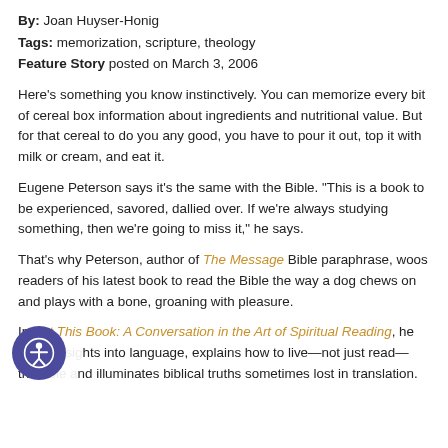By: Joan Huyser-Honig
Tags: memorization, scripture, theology
Feature Story posted on March 3, 2006
Here's something you know instinctively. You can memorize every bit of cereal box information about ingredients and nutritional value. But for that cereal to do you any good, you have to pour it out, top it with milk or cream, and eat it.
Eugene Peterson says it's the same with the Bible. "This is a book to be experienced, savored, dallied over. If we're always studying something, then we're going to miss it," he says.
That's why Peterson, author of The Message Bible paraphrase, woos readers of his latest book to read the Bible the way a dog chews on and plays with a bone, groaning with pleasure.
In Eat This Book: A Conversation in the Art of Spiritual Reading, he offers insights into language, explains how to live—not just read—the Bible, and illuminates biblical truths sometimes lost in translation.